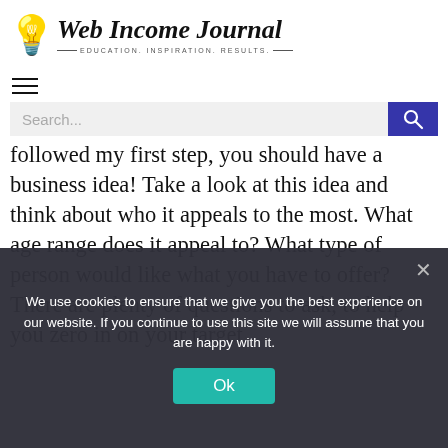primary focus of all your marketing efforts
[Figure (logo): Web Income Journal logo with lightbulb icon and tagline EDUCATION. INSPIRATION. RESULTS.]
followed my first step, you should have a business idea! Take a look at this idea and think about who it appeals to the most. What age range does it appeal to? What type of person would like what you have to offer? There are plenty of questions to ask, to help you zero in on your target
We use cookies to ensure that we give you the best experience on our website. If you continue to use this site we will assume that you are happy with it.